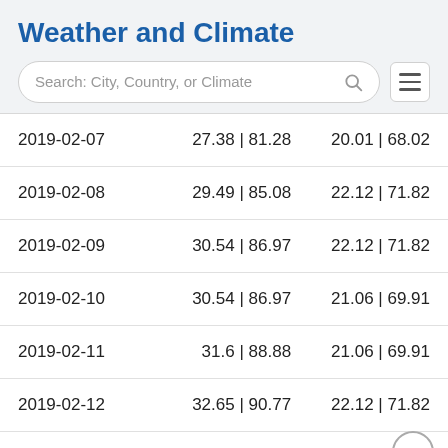Weather and Climate
Search: City, Country, or Climate
| Date | Max Temp | Min Temp |
| --- | --- | --- |
| 2019-02-07 | 27.38 | 81.28 | 20.01 | 68.02 |
| 2019-02-08 | 29.49 | 85.08 | 22.12 | 71.82 |
| 2019-02-09 | 30.54 | 86.97 | 22.12 | 71.82 |
| 2019-02-10 | 30.54 | 86.97 | 21.06 | 69.91 |
| 2019-02-11 | 31.6 | 88.88 | 21.06 | 69.91 |
| 2019-02-12 | 32.65 | 90.77 | 22.12 | 71.82 |
| 2019-02-13 | 29.49 | 85.08 | 24.22 | 75.6 |